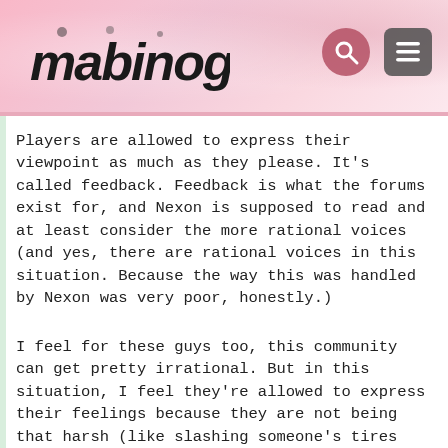mabinogi
Players are allowed to express their viewpoint as much as they please. It's called feedback. Feedback is what the forums exist for, and Nexon is supposed to read and at least consider the more rational voices (and yes, there are rational voices in this situation. Because the way this was handled by Nexon was very poor, honestly.)
I feel for these guys too, this community can get pretty irrational. But in this situation, I feel they're allowed to express their feelings because they are not being that harsh (like slashing someone's tires for instance). If they aren't allowed to at the very least express how they feel, then just delete the forums.
Fine, but they are still just balloons. It's not like it's the succubus queen outfit or a soluna blade. Pretty sure if they were offered something rare they would shut up.